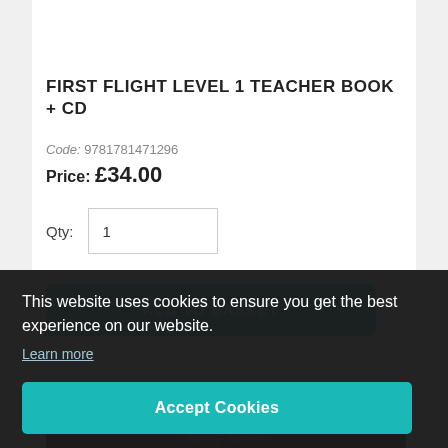FIRST FLIGHT LEVEL 1 TEACHER BOOK + CD
Code: 9781781471296
Price: £34.00
Qty: 1
ADD TO BASKET
This website uses cookies to ensure you get the best experience on our website.
Learn more
Accept Cookies
[Figure (screenshot): Partial book cover showing 'THE PHANTOM' text and author name 'Jonny Zucker' on a dark reddish background]